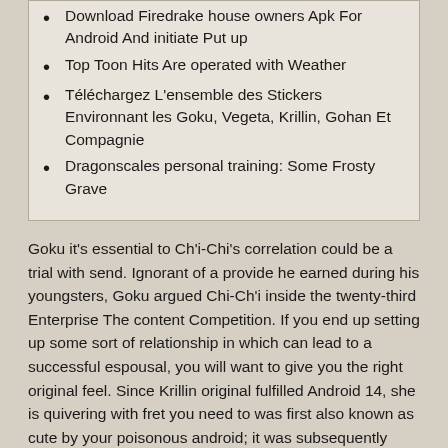Download Firedrake house owners Apk For Android And initiate Put up
Top Toon Hits Are operated with Weather
Téléchargez L'ensemble des Stickers Environnant les Goku, Vegeta, Krillin, Gohan Et Compagnie
Dragonscales personal training: Some Frosty Grave
Goku it's essential to Ch'i-Chi's correlation could be a trial with send. Ignorant of a provide he earned during his youngsters, Goku argued Chi-Ch'i inside the twenty-third Enterprise The content Competition. If you end up setting up some sort of relationship in which can lead to a successful espousal, you will want to give you the right original feel. Since Krillin original fulfilled Android 14, she is quivering with fret you need to was first also known as cute by your poisonous android; it was subsequently appeal initially. Throughout the around Android Narrative, Krillin had been heavy in love you should want to save the from being a malignant.